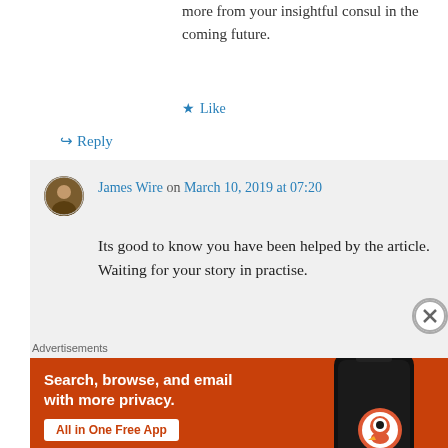more from your insightful consul in the coming future.
★ Like
↪ Reply
James Wire on March 10, 2019 at 07:20
Its good to know you have been helped by the article. Waiting for your story in practise.
Advertisements
[Figure (screenshot): DuckDuckGo advertisement banner with orange background showing 'Search, browse, and email with more privacy. All in One Free App' text and DuckDuckGo logo on a phone mockup.]